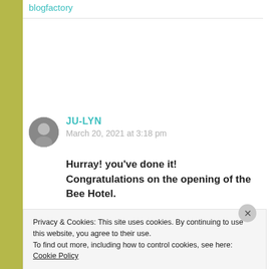blogfactory
[Figure (photo): Circular avatar photo of commenter Ju-Lyn, grayscale portrait]
JU-LYN
March 20, 2021 at 3:18 pm
Hurray! you've done it! Congratulations on the opening of the Bee Hotel.
Privacy & Cookies: This site uses cookies. By continuing to use this website, you agree to their use.
To find out more, including how to control cookies, see here: Cookie Policy
Close and accept